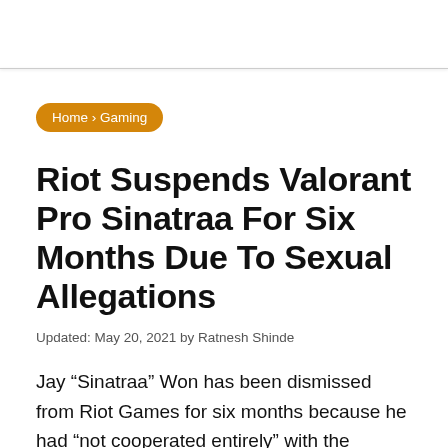Home › Gaming
Riot Suspends Valorant Pro Sinatraa For Six Months Due To Sexual Allegations
Updated: May 20, 2021 by Ratnesh Shinde
Jay “Sinatraa” Won has been dismissed from Riot Games for six months because he had “not cooperated entirely” with the pending probe into a